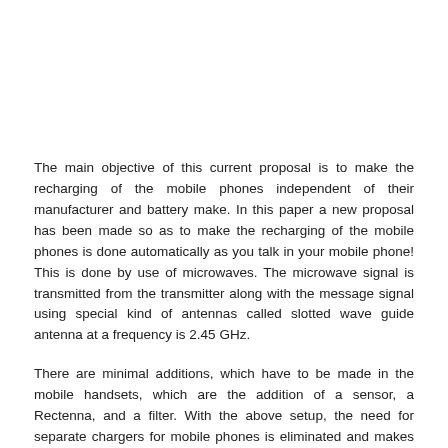The main objective of this current proposal is to make the recharging of the mobile phones independent of their manufacturer and battery make. In this paper a new proposal has been made so as to make the recharging of the mobile phones is done automatically as you talk in your mobile phone! This is done by use of microwaves. The microwave signal is transmitted from the transmitter along with the message signal using special kind of antennas called slotted wave guide antenna at a frequency is 2.45 GHz.
There are minimal additions, which have to be made in the mobile handsets, which are the addition of a sensor, a Rectenna, and a filter. With the above setup, the need for separate chargers for mobile phones is eliminated and makes charging universal. Thus the more you talk, the more is your mobile phone charged! With this proposal the manufacturers would be able to remove the talk...